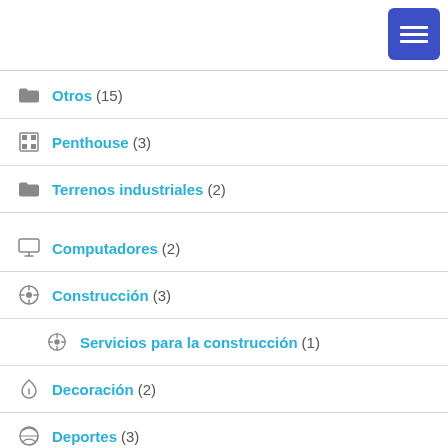Otros (15)
Penthouse (3)
Terrenos industriales (2)
Computadores (2)
Construcción (3)
Servicios para la construcción (1)
Decoración (2)
Deportes (3)
Diseño gráfico (9)
Electrónica (4)